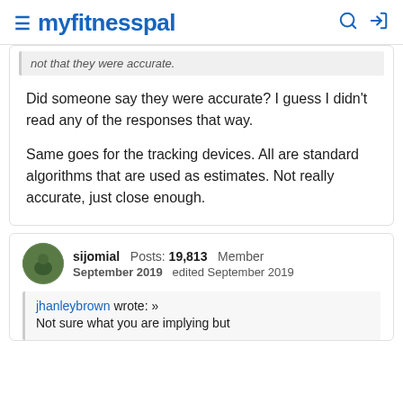myfitnesspal
Did someone say they were accurate? I guess I didn't read any of the responses that way.

Same goes for the tracking devices. All are standard algorithms that are used as estimates. Not really accurate, just close enough.
sijomial  Posts: 19,813  Member
September 2019  edited September 2019
jhanleybrown wrote: »
Not sure what you are implying but